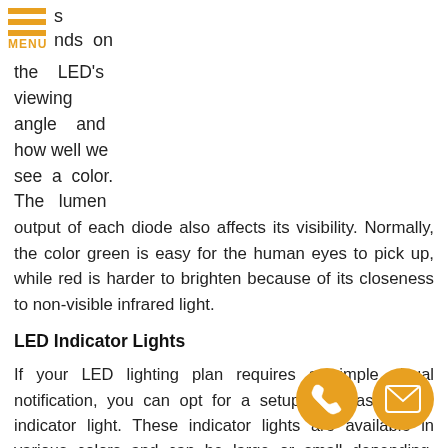s
nds on the LED's viewing angle and how well we see a color. The lumen output of each diode also affects its visibility. Normally, the color green is easy for the human eyes to pick up, while red is harder to brighten because of its closeness to non-visible infrared light.
LED Indicator Lights
If your LED lighting plan requires a simple visual notification, you can opt for a setup that has a LED indicator light. These indicator lights are available in various colors and can be large or small depending on your preference. Some LED lights com n or lights installed, which can speed up your lighting set